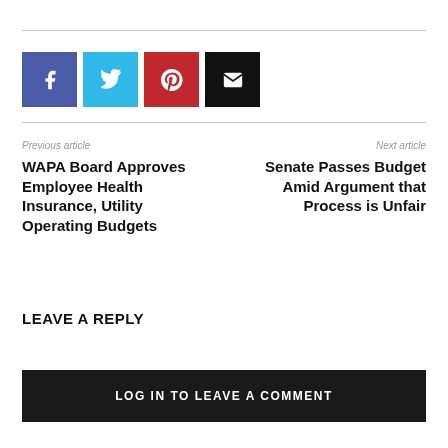[Figure (infographic): Social sharing buttons: Facebook (blue), Twitter (cyan), Pinterest (red), Email (black)]
Previous article
WAPA Board Approves Employee Health Insurance, Utility Operating Budgets
Next article
Senate Passes Budget Amid Argument that Process is Unfair
LEAVE A REPLY
LOG IN TO LEAVE A COMMENT